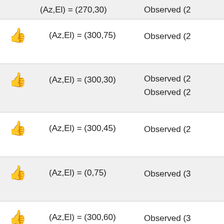(Az,El) = (270,30) ... Observed (2...
👍 (Az,El) = (300,75)  Observed (25...
👍 (Az,El) = (300,30)  Observed (25... Observed (25...
👍 (Az,El) = (300,45)  Observed (25...
👍 (Az,El) = (0,75)    Observed (30...
👍 (Az,El) = (300,60)  Observed (3...